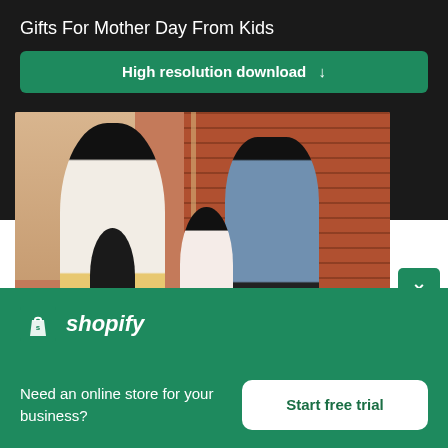Gifts For Mother Day From Kids
High resolution download ↓
[Figure (photo): A family of African American parents with young children in a brick-walled indoor space. A woman in white and a man in blue hold and interact with small children.]
×
[Figure (logo): Shopify logo: shopping bag icon with an 's' and the word shopify in white italic text on green background]
Need an online store for your business?
Start free trial